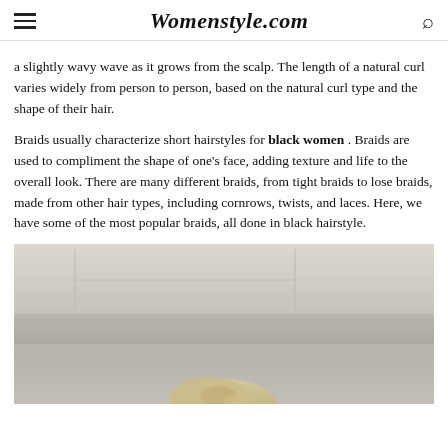Womenstyle.com
a slightly wavy wave as it grows from the scalp. The length of a natural curl varies widely from person to person, based on the natural curl type and the shape of their hair.
Braids usually characterize short hairstyles for black women . Braids are used to compliment the shape of one’s face, adding texture and life to the overall look. There are many different braids, from tight braids to lose braids, made from other hair types, including cornrows, twists, and laces. Here, we have some of the most popular braids, all done in black hairstyle.
[Figure (photo): A photo of a woman with braided hair, partially visible at the bottom of the page, against a light interior background.]